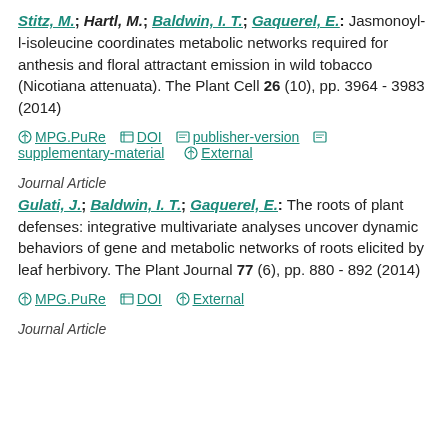Stitz, M.; Hartl, M.; Baldwin, I. T.; Gaquerel, E.: Jasmonoyl-l-isoleucine coordinates metabolic networks required for anthesis and floral attractant emission in wild tobacco (Nicotiana attenuata). The Plant Cell 26 (10), pp. 3964 - 3983 (2014)
MPG.PuRe  DOI  publisher-version  supplementary-material  External
Journal Article
Gulati, J.; Baldwin, I. T.; Gaquerel, E.: The roots of plant defenses: integrative multivariate analyses uncover dynamic behaviors of gene and metabolic networks of roots elicited by leaf herbivory. The Plant Journal 77 (6), pp. 880 - 892 (2014)
MPG.PuRe  DOI  External
Journal Article